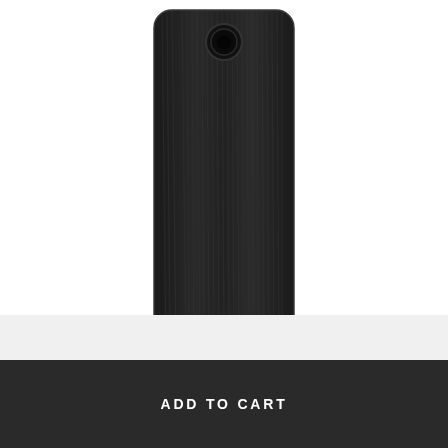[Figure (photo): Back view of a dark wood-grain phone case (Blackened Ash) for Google Pixel 2 XL, with camera cutout visible at top]
#WOODBACKEXPLORER CASE
GOOGLE PIXEL 2XL
Blackened Ash   ★★★★★ 1 review
$29.00
ADD TO CART